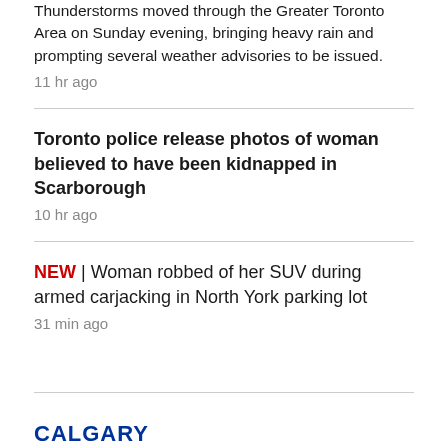Thunderstorms moved through the Greater Toronto Area on Sunday evening, bringing heavy rain and prompting several weather advisories to be issued.
11 hr ago
Toronto police release photos of woman believed to have been kidnapped in Scarborough
10 hr ago
NEW | Woman robbed of her SUV during armed carjacking in North York parking lot
31 min ago
CALGARY